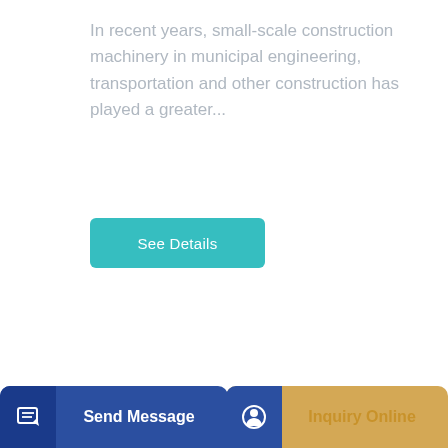In recent years, small-scale construction machinery in municipal engineering, transportation and other construction has played a greater...
[Figure (other): Teal/turquoise 'See Details' button]
[Figure (other): Bottom navigation bar with 'Send Message' (blue) and 'Inquiry Online' (gold) buttons]